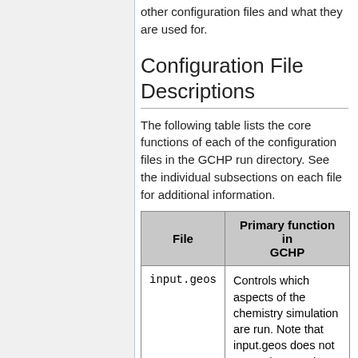other configuration files and what they are used for.
Configuration File Descriptions
The following table lists the core functions of each of the configuration files in the GCHP run directory. See the individual subsections on each file for additional information.
| File | Primary function in GCHP |
| --- | --- |
| input.geos | Controls which aspects of the chemistry simulation are run. Note that input.geos does not currently control |